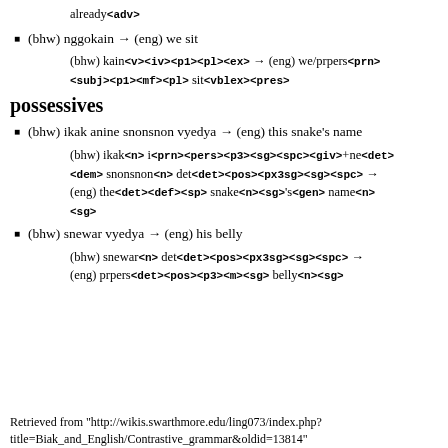already<adv>
(bhw) nggokain → (eng) we sit
(bhw) kain<v><iv><p1><pl><ex> → (eng) we/prpers<prn><subj><p1><mf><pl> sit<vblex><pres>
possessives
(bhw) ikak anine snonsnon vyedya → (eng) this snake's name
(bhw) ikak<n> i<prn><pers><p3><sg><spc><giv>+ne<det><dem> snonsnon<n> det<det><pos><px3sg><sg><spc> → (eng) the<det><def><sp> snake<n><sg>'s<gen> name<n><sg>
(bhw) snewar vyedya → (eng) his belly
(bhw) snewar<n> det<det><pos><px3sg><sg><spc> → (eng) prpers<det><pos><p3><m><sg> belly<n><sg>
Retrieved from "http://wikis.swarthmore.edu/ling073/index.php?title=Biak_and_English/Contrastive_grammar&oldid=13814"